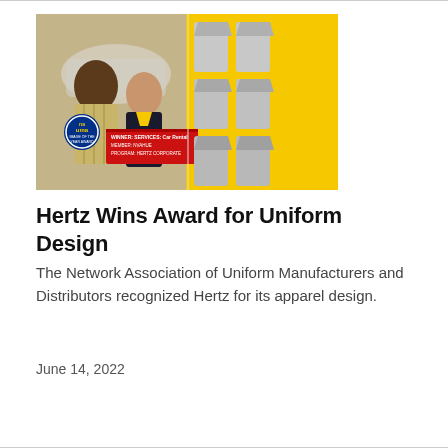[Figure (photo): Hertz uniform award image showing two Hertz employees (a man in a yellow plaid shirt and a woman in a dark uniform) on the left, with a nauma Image of the Year Award badge, a red banner reading 'WINNER: SERVICES: Car Rental, MEMBER: NVAHUE, PROGRAM: HERTZ CORPORATE', and on the right a yellow background displaying several grey uniform garments (shirts, polos).]
Hertz Wins Award for Uniform Design
The Network Association of Uniform Manufacturers and Distributors recognized Hertz for its apparel design.
June 14, 2022